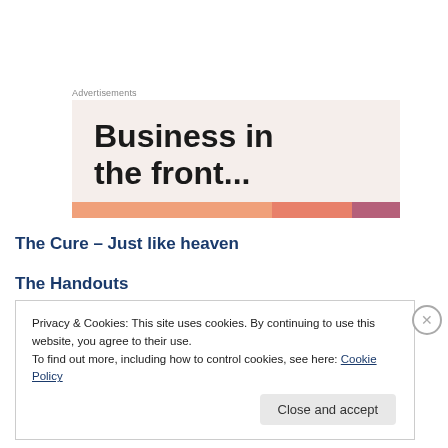Advertisements
[Figure (illustration): Advertisement banner with text 'Business in the front...' on a light beige/pink background with a colorful stripe at the bottom in orange, salmon, and mauve tones.]
The Cure – Just like heaven
The Handouts
Privacy & Cookies: This site uses cookies. By continuing to use this website, you agree to their use.
To find out more, including how to control cookies, see here: Cookie Policy
Close and accept